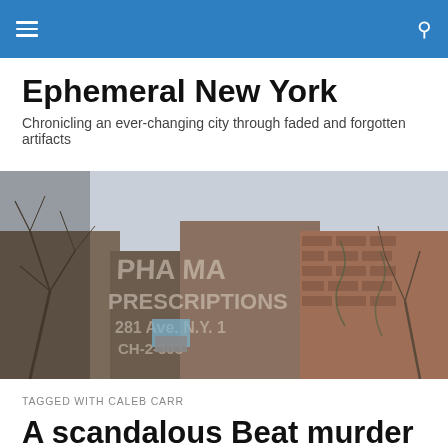Ephemeral New York
Ephemeral New York
Chronicling an ever-changing city through faded and forgotten artifacts
[Figure (photo): Faded painted signs on a brick building reading 'PHARMACY PRESCRIPTIONS 281 Ave. N.Y. CH-2-303' with bare winter trees in the foreground]
TAGGED WITH CALEB CARR
A scandalous Beat murder in Riverside Park